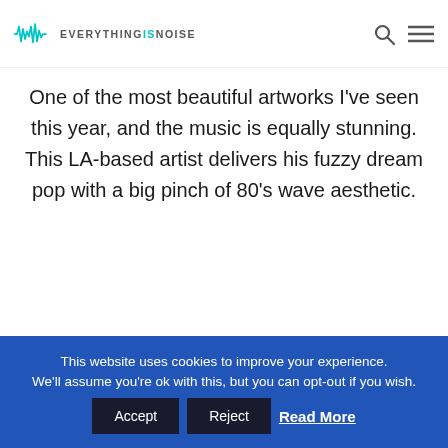EVERYTHINGSNOISE
One of the most beautiful artworks I've seen this year, and the music is equally stunning. This LA-based artist delivers his fuzzy dream pop with a big pinch of 80's wave aesthetic.
Bandcamp // Youtube
Steven Alexander – Searching
This website uses cookies to improve your experience. We'll assume you're ok with this, but you can opt-out if you wish. Accept Reject Read More